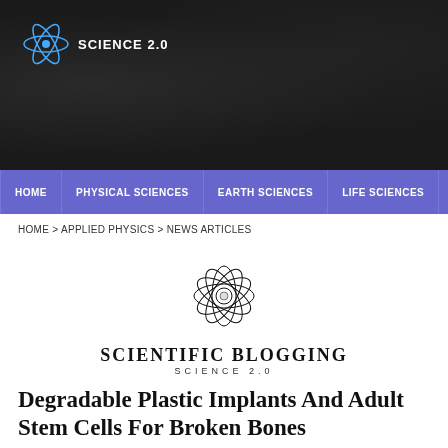[Figure (logo): Science 2.0 logo with atom graphic on dark background header]
HOME | PHYSICAL SCIENCES | EARTH SCIENCES | LIFE SCIENCES | MEDICI...
HOME > APPLIED PHYSICS > NEWS ARTICLES
[Figure (logo): Scientific Blogging Science 2.0 logo with atom/flower graphic]
Degradable Plastic Implants And Adult Stem Cells For Broken Bones
By News Staff | February 8th 2013 08:56 AM | Print | E-mail